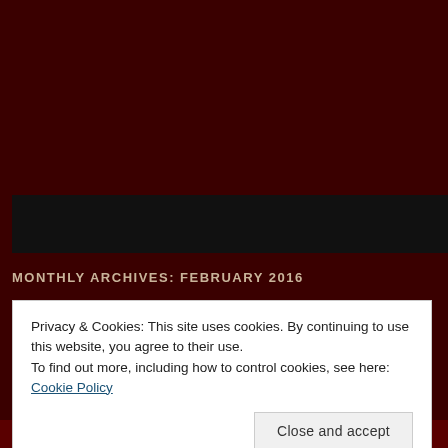[Figure (screenshot): Dark maroon website header area with a black navigation bar]
MONTHLY ARCHIVES: FEBRUARY 2016
Privacy & Cookies: This site uses cookies. By continuing to use this website, you agree to their use.
To find out more, including how to control cookies, see here: Cookie Policy
Close and accept
come up with the most pathetic programmes, television continues to su